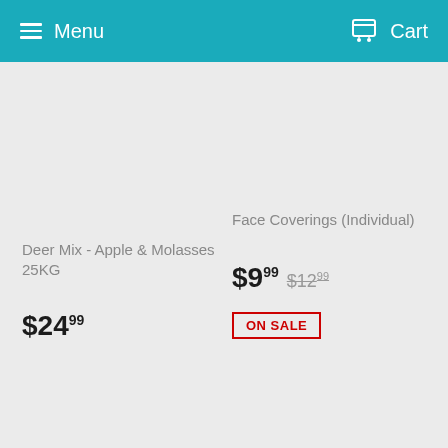Menu   Cart
Deer Mix - Apple & Molasses 25KG
$24.99
Face Coverings (Individual)
$9.99  $12.99
ON SALE